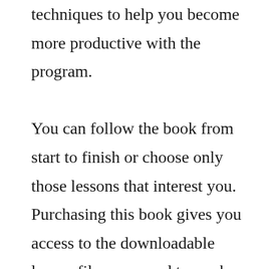techniques to help you become more productive with the program. You can follow the book from start to finish or choose only those lessons that interest you. Purchasing this book gives you access to the downloadable lesson files you need to work through the projects in the book, and to electronic book updates covering new features that Adobe releases for Creative Cloud customers.